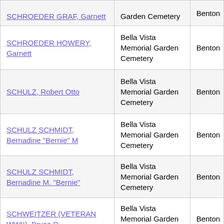| Name | Cemetery | County |
| --- | --- | --- |
| SCHROEDER GRAF, Garnett | Bella Vista Memorial Garden Cemetery | Benton |
| SCHROEDER HOWERY, Garnett | Bella Vista Memorial Garden Cemetery | Benton |
| SCHULZ, Robert Otto | Bella Vista Memorial Garden Cemetery | Benton |
| SCHULZ SCHMIDT, Bernadine "Bernie" M | Bella Vista Memorial Garden Cemetery | Benton |
| SCHULZ SCHMIDT, Bernadine M. "Bernie" | Bella Vista Memorial Garden Cemetery | Benton |
| SCHWEITZER (VETERAN WWII), Bruce D | Bella Vista Memorial Garden Cemetery | Benton |
| SCIBETTA, JR, Vincent James | Bella Vista Memorial Garden Cemetery | Benton |
| SCOGGINS, Carol W. | Bella Vista Memorial Garden Cemetery | Benton |
| SCOGGINS, M. Wilson | Bella Vista Memorial Garden Cemetery | Benton |
| (partial) | Bella Vista Memorial... |  |